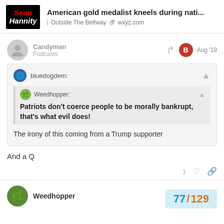American gold medalist kneels during nati... | Outside The Beltway | wxyz.com
Candyman
Podcasts
Aug '19
bluedogdem:
Weedhopper:
Patriots don't coerce people to be morally bankrupt, that's what evil does!
The irony of this coming from a Trump supporter
And a Q
Weedhopper
77 / 129